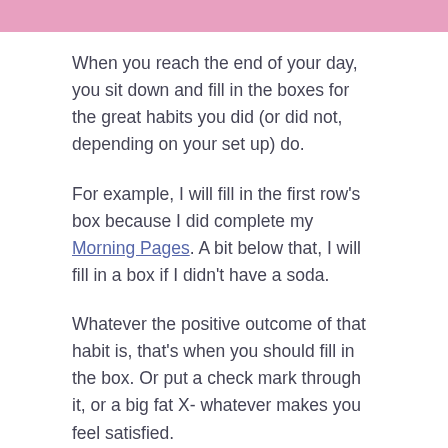[Figure (other): Pink horizontal decorative bar at top of page]
When you reach the end of your day, you sit down and fill in the boxes for the great habits you did (or did not, depending on your set up) do.
For example, I will fill in the first row's box because I did complete my Morning Pages. A bit below that, I will fill in a box if I didn't have a soda.
Whatever the positive outcome of that habit is, that's when you should fill in the box. Or put a check mark through it, or a big fat X- whatever makes you feel satisfied.
I like to color them in with Staedtler Triplus